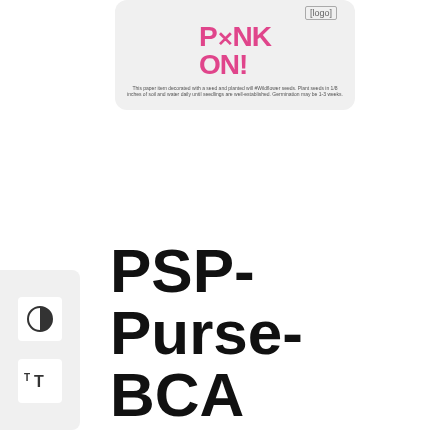[Figure (photo): Product image of a purse-shaped panel card with 'Pink On!' text in pink and a logo placeholder in the top right corner. Small fine print text at the bottom of the card.]
PSP-Purse-BCA
SKU: PSP-Purse-BCA Category: Shape Panel Cards - BCA
SEND AN ENQUIRY